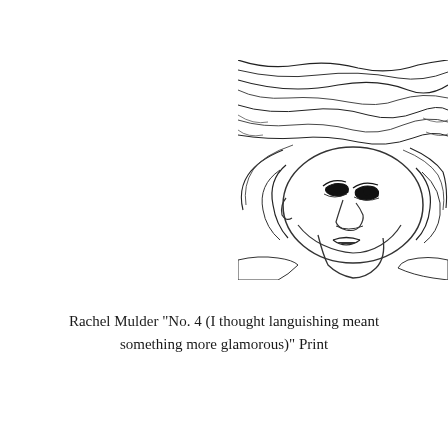[Figure (illustration): A pencil/ink sketch illustration of a person lying down, viewed from below, with long hair spread out. The face is turned upward showing features in a stylized line-drawing style. The image is positioned in the upper-right corner of the page.]
Rachel Mulder "No. 4 (I thought languishing meant something more glamorous)" Print